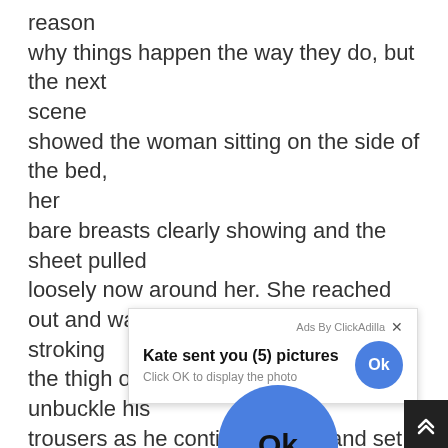reason
why things happen the way they do, but the next scene
showed the woman sitting on the side of the bed, her
bare breasts clearly showing and the sheet pulled loosely now around her. She reached out and was stroking
the thigh of the black man and trying to unbuckle his trousers as he continued to try and set the tray of
foo
for
I loc                                                                ng
Bob                                                                .
She
was                                                                st
swe                                                                d
the
[Figure (screenshot): Ad overlay popup from ClickAdilla: 'Kate sent you (5) pictures' with 'Click OK to display the photo' subtitle and Ok button. A large blue Ok button is shown below the popup.]